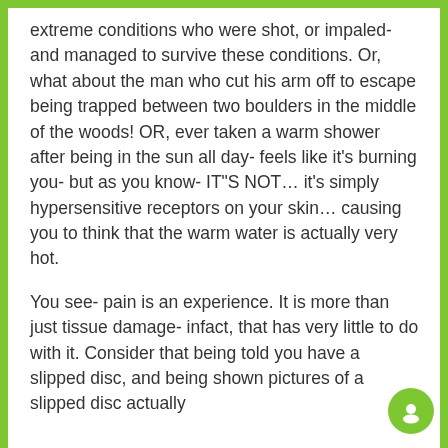extreme conditions who were shot, or impaled- and managed to survive these conditions. Or, what about the man who cut his arm off to escape being trapped between two boulders in the middle of the woods! OR, ever taken a warm shower after being in the sun all day- feels like it's burning you- but as you know- IT"S NOT… it's simply hypersensitive receptors on your skin… causing you to think that the warm water is actually very hot.
You see- pain is an experience. It is more than just tissue damage- infact, that has very little to do with it. Consider that being told you have a slipped disc, and being shown pictures of a slipped disc actually